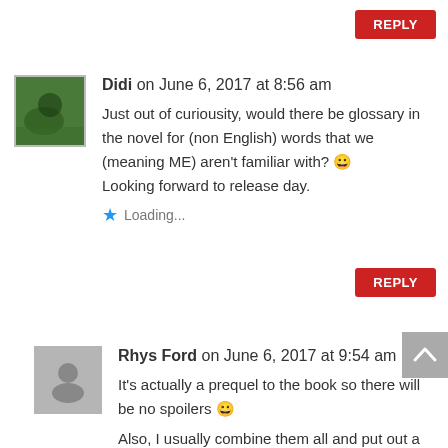REPLY (button top right)
Didi on June 6, 2017 at 8:56 am
Just out of curiousity, would there be glossary in the novel for (non English) words that we (meaning ME) aren't familiar with? 😀 Looking forward to release day.
Loading...
REPLY (button mid right)
Rhys Ford on June 6, 2017 at 9:54 am
It's actually a prequel to the book so there will be no spoilers 😀
Also, I usually combine them all and put out a PDF after the tour 😀